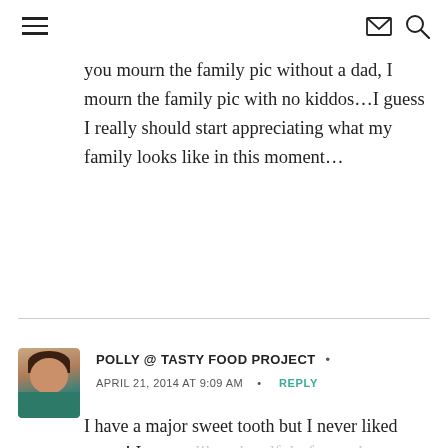you mourn the family pic without a dad, I mourn the family pic with no kiddos...I guess I really should start appreciating what my family looks like in this moment...
[Figure (photo): Small circular avatar photo of a woman with dark hair, wearing a teal/green top]
POLLY @ TASTY FOOD PROJECT •
APRIL 21, 2014 AT 9:09 AM  •  REPLY
I have a major sweet tooth but I never liked peeps! It tastes like a handful of sugar!